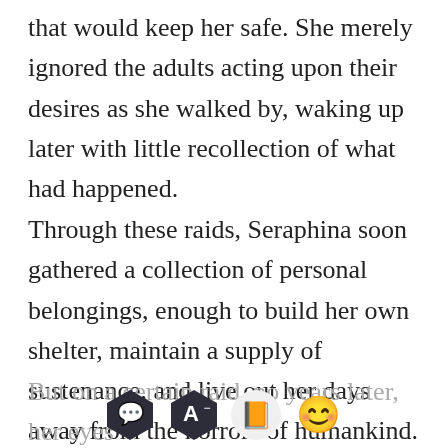that would keep her safe. She merely ignored the adults acting upon their desires as she walked by, waking up later with little recollection of what had happened.
Through these raids, Seraphina soon gathered a collection of personal belongings, enough to build her own shelter, maintain a supply of sustenance, and live out her days away from the horrors of humankind.
But on a certain raid, no years later, her eyes
[Figure (screenshot): Mobile reading app toolbar with four icons: chat bubble (dark hexagon), font size A- (dark hexagon), book (orange rounded square), and emoji face (yellow circle)]